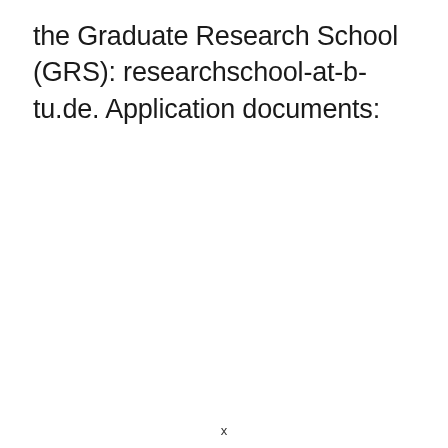the Graduate Research School (GRS): researchschool-at-b-tu.de. Application documents:
x